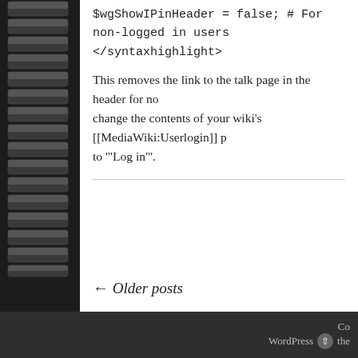$wgShowIPinHeader = false; # For non-logged in users
</syntaxhighlight>
This removes the link to the talk page in the header for no... change the contents of your wiki's [[MediaWiki:Userlogin]] p... to "Log in".
← Older posts
Co... WordPress the...